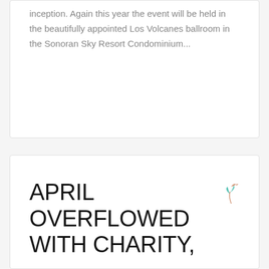inception. Again this year the event will be held in the beautifully appointed Los Volcanes ballroom in the Sonoran Sky Resort Condominium...
READ MORE
APRIL OVERFLOWED WITH CHARITY,